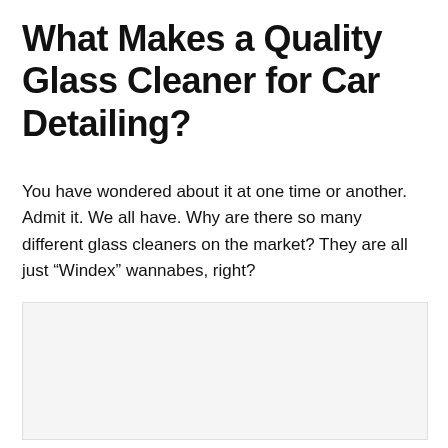What Makes a Quality Glass Cleaner for Car Detailing?
You have wondered about it at one time or another. Admit it. We all have. Why are there so many different glass cleaners on the market? They are all just “Windex” wannabes, right?
[Figure (photo): A light gray placeholder image area below the introductory text]